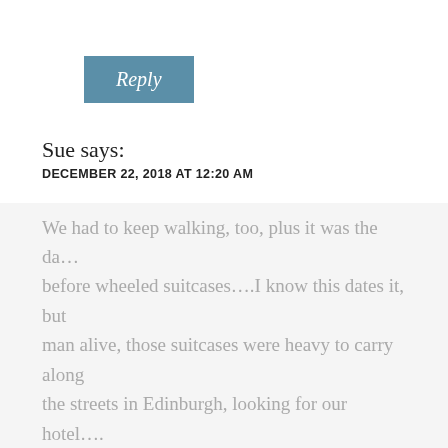[Figure (other): Reply button — teal/steel-blue rectangle with italic white text 'Reply']
Sue says:
DECEMBER 22, 2018 AT 12:20 AM
I'm hailing from coastal Maine, and believe me, most Mainers light the wood stove to be cozy. And pull up a cat or a lap robe. Nothing like it.
And, if it makes you feel any better, I visited Edinburgh in early April and it was about the same as you described! RAW! And, windy and cold and w…
We had to keep walking, too, plus it was the da… before wheeled suitcases….I know this dates it, but man alive, those suitcases were heavy to carry along the streets in Edinburgh, looking for our hotel….